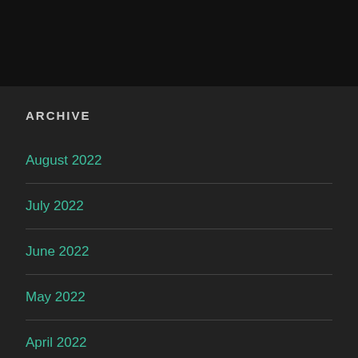ARCHIVE
August 2022
July 2022
June 2022
May 2022
April 2022
March 2022